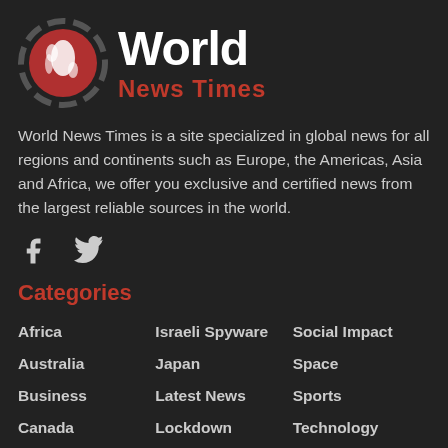[Figure (logo): World News Times logo with globe icon and text 'World News Times']
World News Times is a site specialized in global news for all regions and continents such as Europe, the Americas, Asia and Africa, we offer you exclusive and certified news from the largest reliable sources in the world.
[Figure (other): Social media icons: Facebook and Twitter]
Categories
Africa
Israeli Spyware
Social Impact
Australia
Japan
Space
Business
Latest News
Sports
Canada
Lockdown
Technology
China
Mexico
Ukraine
Energy
Middle East
Uncategorized